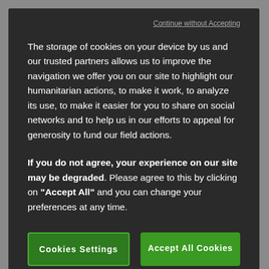clinical research in terms of public health criteria. Unfortunately, the pharmaceutical industry's influence on decision-making in this domain is growing, and it naturally steers it
Continue without Accepting
The storage of cookies on your device by us and our trusted partners allows us to improve the navigation we offer you on our site to highlight our humanitarian actions, to make it work, to analyze its use, to make it easier for you to share on social networks and to help us in our efforts to appeal for generosity to fund our field actions.
If you do not agree, your experience on our site may be degraded. Please agree to this by clicking on "Accept All" and you can change your preferences at any time.
Cookies Settings
Accept All Cookies